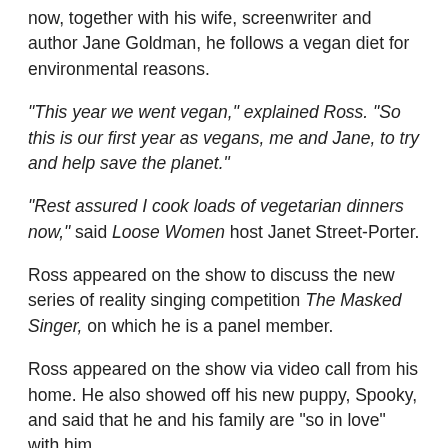now, together with his wife, screenwriter and author Jane Goldman, he follows a vegan diet for environmental reasons.
“This year we went vegan,” explained Ross. “So this is our first year as vegans, me and Jane, to try and help save the planet.”
“Rest assured I cook loads of vegetarian dinners now,” said Loose Women host Janet Street-Porter.
Ross appeared on the show to discuss the new series of reality singing competition The Masked Singer, on which he is a panel member.
Ross appeared on the show via video call from his home. He also showed off his new puppy, Spooky, and said that he and his family are “so in love” with him.